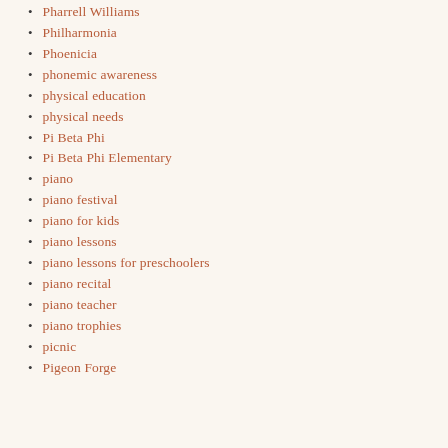Pharrell Williams
Philharmonia
Phoenicia
phonemic awareness
physical education
physical needs
Pi Beta Phi
Pi Beta Phi Elementary
piano
piano festival
piano for kids
piano lessons
piano lessons for preschoolers
piano recital
piano teacher
piano trophies
picnic
Pigeon Forge